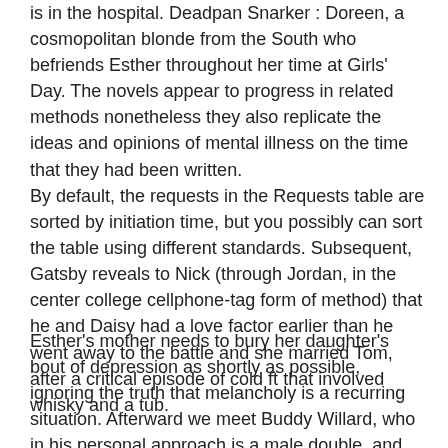is in the hospital. Deadpan Snarker : Doreen, a cosmopolitan blonde from the South who befriends Esther throughout her time at Girls' Day. The novels appear to progress in related methods nonetheless they also replicate the ideas and opinions of mental illness on the time that they had been written.
By default, the requests in the Requests table are sorted by initiation time, but you possibly can sort the table using different standards. Subsequent, Gatsby reveals to Nick (through Jordan, in the center college cellphone-tag form of method) that he and Daisy had a love factor earlier than he went away to the battle and she married Tom, after a critical episode of cold ft that involved whisky and a tub.
Esther's mother needs to bury her daughter's bout of depression as shortly as possible, ignoring the truth that melancholy is a recurring situation. Afterward we meet Buddy Willard, who in his personal approach is a male double, and Joan Gilling, a fellow college student turned psychological breakdown & restoration affected person. Buddy Willard: Buddy is Esther's boyfriend, to a sure extent, for the larger part of the novel.